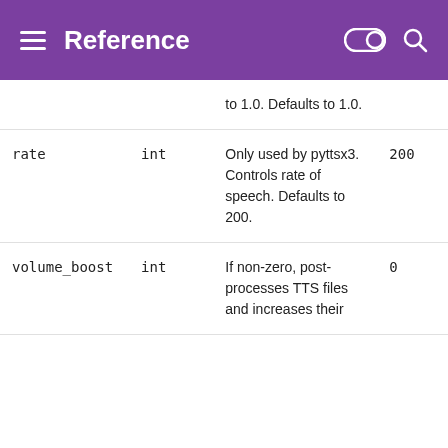Reference
| Name | Type | Description | Default |
| --- | --- | --- | --- |
|  |  | to 1.0. Defaults to 1.0. |  |
| rate | int | Only used by pyttsx3. Controls rate of speech. Defaults to 200. | 200 |
| volume_boost | int | If non-zero, post-processes TTS files and increases their | 0 |